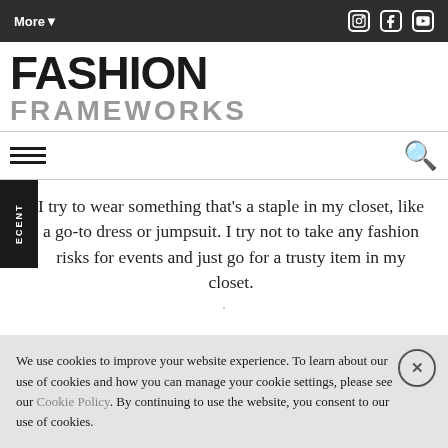More ▾  [Instagram] [Facebook] [YouTube]
FASHION FRAMEWORKS
I try to wear something that's a staple in my closet, like a go-to dress or jumpsuit. I try not to take any fashion risks for events and just go for a trusty item in my closet.
We use cookies to improve your website experience. To learn about our use of cookies and how you can manage your cookie settings, please see our Cookie Policy. By continuing to use the website, you consent to our use of cookies.